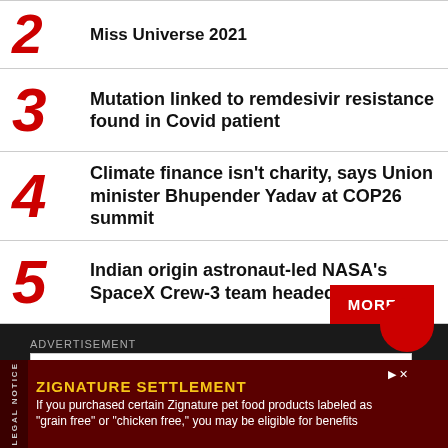2 Miss Universe 2021
3 Mutation linked to remdesivir resistance found in Covid patient
4 Climate finance isn't charity, says Union minister Bhupender Yadav at COP26 summit
5 Indian origin astronaut-led NASA's SpaceX Crew-3 team headed to ISS
MORE +
ADVERTISEMENT
LEGAL NOTICE ZIGNATURE SETTLEMENT If you purchased certain Zignature pet food products labeled as "grain free" or "chicken free," you may be eligible for benefits